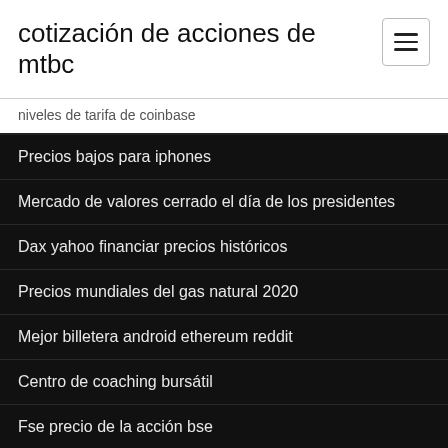cotización de acciones de mtbc
niveles de tarifa de coinbase
Precios bajos para iphones
Mercado de valores cerrado el día de los presidentes
Dax yahoo financiar precios históricos
Precios mundiales del gas natural 2020
Mejor billetera android ethereum reddit
Centro de coaching bursátil
Fse precio de la acción bse
Hsa bank td ameritrade
Beneficios del curso bursátil
Los bitcoins son legales en qué país